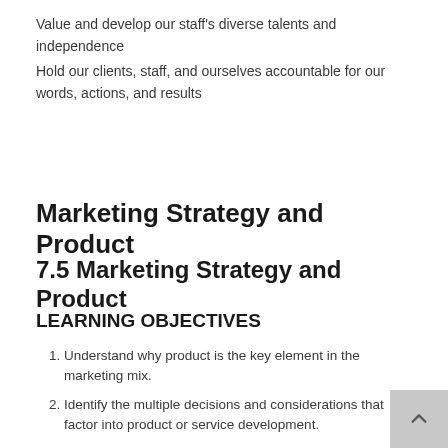Value and develop our staff's diverse talents and independence
Hold our clients, staff, and ourselves accountable for our words, actions, and results
Marketing Strategy and Product
7.5 Marketing Strategy and Product
LEARNING OBJECTIVES
Understand why product is the key element in the marketing mix.
Identify the multiple decisions and considerations that factor into product or service development.